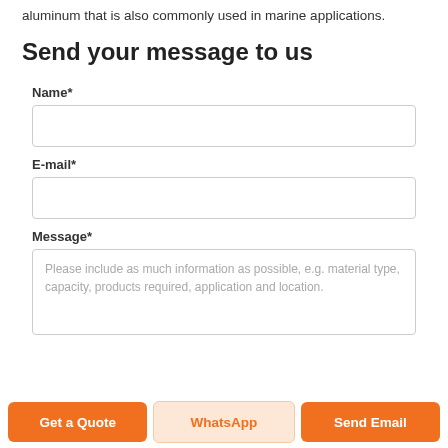aluminum that is also commonly used in marine applications.
Send your message to us
Name*
E-mail*
Message*
Please include as much information as possible, e.g. material type, capacity, products required, application and location.
Get a Quote
WhatsApp
Send Email